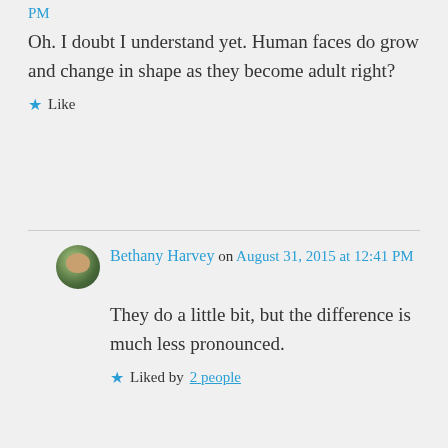PM
Oh. I doubt I understand yet. Human faces do grow and change in shape as they become adult right?
★ Like
Bethany Harvey on August 31, 2015 at 12:41 PM
They do a little bit, but the difference is much less pronounced.
★ Liked by 2 people